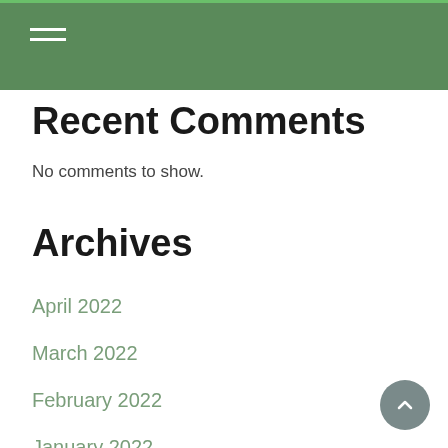Navigation header with hamburger menu
Recent Comments
No comments to show.
Archives
April 2022
March 2022
February 2022
January 2022
December 2021
November 2021